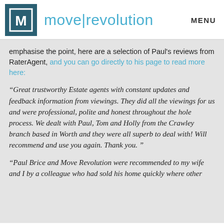move|revolution  MENU
emphasise the point, here are a selection of Paul's reviews from RaterAgent, and you can go directly to his page to read more here:
“Great trustworthy Estate agents with constant updates and feedback information from viewings. They did all the viewings for us and were professional, polite and honest throughout the hole process. We dealt with Paul, Tom and Holly from the Crawley branch based in Worth and they were all superb to deal with! Will recommend and use you again. Thank you. ”
“Paul Brice and Move Revolution were recommended to my wife and I by a colleague who had sold his home quickly where other